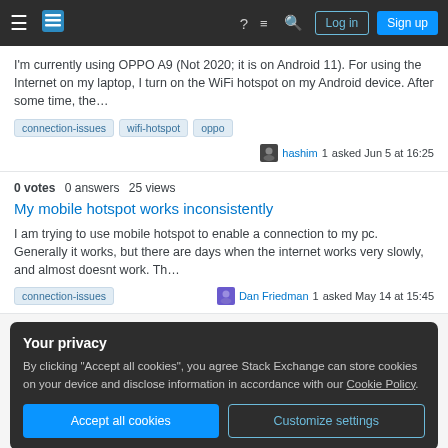Navigation bar with hamburger menu, Stack Exchange logo, help, chat, search icons, Log in and Sign up buttons
I'm currently using OPPO A9 (Not 2020; it is on Android 11). For using the Internet on my laptop, I turn on the WiFi hotspot on my Android device. After some time, the…
connection-issues  wifi-hotspot  oppo
hashim 1 asked Jun 5 at 16:25
0 votes  0 answers  25 views
My mobile hotspot works inconsistently
I am trying to use mobile hotspot to enable a connection to my pc. Generally it works, but there are days when the internet works very slowly, and almost doesnt work. Th…
connection-issues
Dan Friedman 1 asked May 14 at 15:45
Your privacy
By clicking "Accept all cookies", you agree Stack Exchange can store cookies on your device and disclose information in accordance with our Cookie Policy.
Accept all cookies  Customize settings
Wilder 1 asked May 6 at 1:47